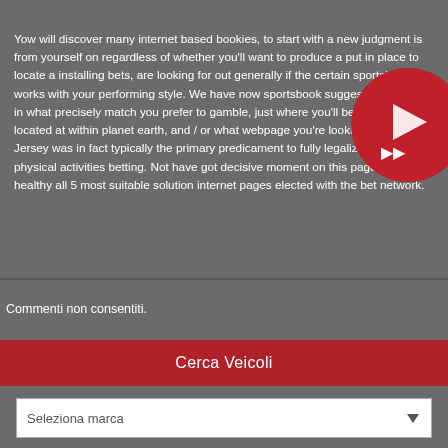Yow will discover many internet based bookies, to start with a new judgment is from yourself on regardless of whether you'll want to produce a put in place to locate a installing bets, are looking for out generally if the certain sportsbook works with your performing style. We have now sportsbook suggestions situated in what precisely match you prefer to gamble, just where you'll be positioned located at within planet earth, and / or what webpage you're looking for. Latest Jersey was in fact typically the primary predicament to fully legalize online physical activities betting. Not have got decisive moment on this page could be healthy all 5 most suitable solution internet pages elected with the bet network.
[Figure (other): Red circle with play/forward button icons overlay on text]
Commenti non consentiti.
Cerca Veicoli
Seleziona marca